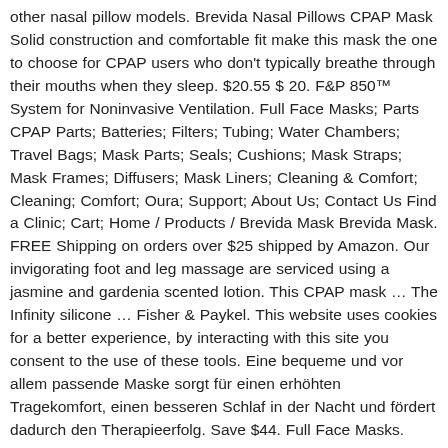other nasal pillow models. Brevida Nasal Pillows CPAP Mask Solid construction and comfortable fit make this mask the one to choose for CPAP users who don't typically breathe through their mouths when they sleep. $20.55 $ 20. F&P 850™ System for Noninvasive Ventilation. Full Face Masks; Parts CPAP Parts; Batteries; Filters; Tubing; Water Chambers; Travel Bags; Mask Parts; Seals; Cushions; Mask Straps; Mask Frames; Diffusers; Mask Liners; Cleaning & Comfort; Cleaning; Comfort; Oura; Support; About Us; Contact Us Find a Clinic; Cart; Home / Products / Brevida Mask Brevida Mask. FREE Shipping on orders over $25 shipped by Amazon. Our invigorating foot and leg massage are serviced using a jasmine and gardenia scented lotion. This CPAP mask … The Infinity silicone … Fisher & Paykel. This website uses cookies for a better experience, by interacting with this site you consent to the use of these tools. Eine bequeme und vor allem passende Maske sorgt für einen erhöhten Tragekomfort, einen besseren Schlaf in der Nacht und fördert dadurch den Therapieerfolg. Save $44. Full Face Masks.